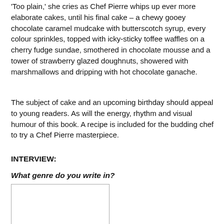'Too plain,' she cries as Chef Pierre whips up ever more elaborate cakes, until his final cake – a chewy gooey chocolate caramel mudcake with butterscotch syrup, every colour sprinkles, topped with icky-sticky toffee waffles on a cherry fudge sundae, smothered in chocolate mousse and a tower of strawberry glazed doughnuts, showered with marshmallows and dripping with hot chocolate ganache.
The subject of cake and an upcoming birthday should appeal to young readers. As will the energy, rhythm and visual humour of this book. A recipe is included for the budding chef to try a Chef Pierre masterpiece.
INTERVIEW:
What genre do you write in?
[Figure (photo): Empty white image box with a thin border, positioned below the interview question.]